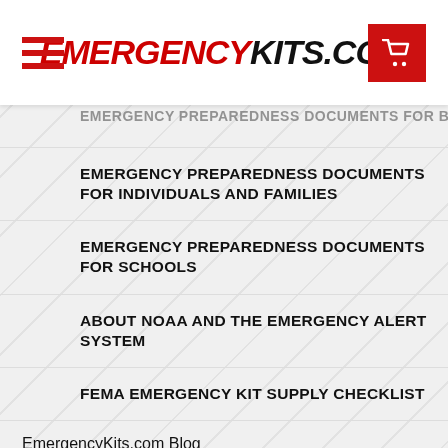EMERGENCYKITS.COM
EMERGENCY PREPAREDNESS DOCUMENTS FOR BUSINESSES
EMERGENCY PREPAREDNESS DOCUMENTS FOR INDIVIDUALS AND FAMILIES
EMERGENCY PREPAREDNESS DOCUMENTS FOR SCHOOLS
ABOUT NOAA AND THE EMERGENCY ALERT SYSTEM
FEMA EMERGENCY KIT SUPPLY CHECKLIST
EmergencyKits.com Blog
Categories
Emergency Kits